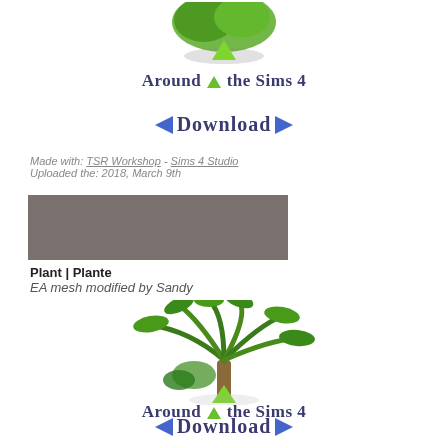[Figure (illustration): Around the Sims 4 logo with green tree and triangle, showing a plant/tree graphic with the text 'Around the Sims 4']
[Figure (illustration): Download button graphic with blue arrows and bold text 'Download']
Made with: TSR Workshop - Sims 4 Studio
Uploaded the: 2018, March 9th
[Figure (photo): Grey/brown rectangular banner/header image]
Plant | Plante
EA mesh modified by Sandy
[Figure (illustration): Around the Sims 4 logo with green palm-like plant and triangle, with text 'Around the Sims 4']
[Figure (illustration): Download button graphic with blue arrows and bold text 'Download']